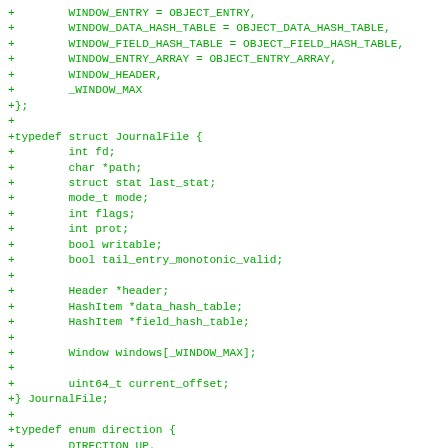[Figure (other): Code diff snippet showing C struct and enum definitions with green plus signs indicating added lines. Includes WINDOW_ENTRY enum values, JournalFile struct definition with fields fd, path, last_stat, mode, flags, prot, writable, tail_entry_monotonic_valid, header, data_hash_table, field_hash_table, windows, current_offset, and direction enum with DIRECTION_UP and DIRECTION_DOWN values.]